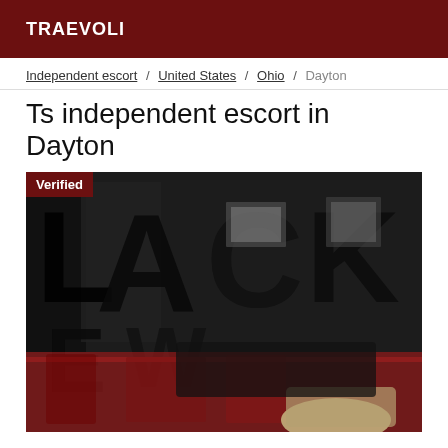TRAEVOLI
Independent escort / United States / Ohio / Dayton
Ts independent escort in Dayton
[Figure (photo): A person lying on a red patterned bed/surface with a black and white graphic backdrop featuring large text letters. A 'Verified' badge appears in the upper left corner of the image.]